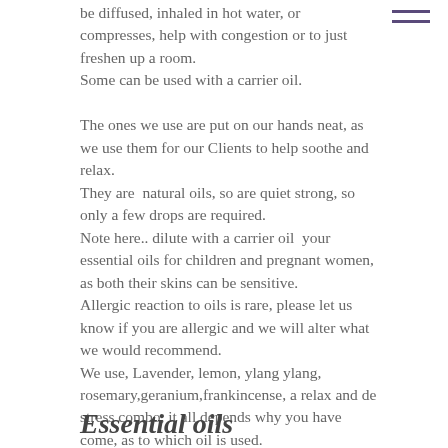be diffused, inhaled in hot water, or compresses, help with congestion or to just freshen up a room. Some can be used with a carrier oil.

The ones we use are put on our hands neat, as we use them for our Clients to help soothe and relax. They are  natural oils, so are quiet strong, so only a few drops are required. Note here.. dilute with a carrier oil  your essential oils for children and pregnant women, as both their skins can be sensitive. Allergic reaction to oils is rare, please let us know if you are allergic and we will alter what we would recommend. We use, Lavender, lemon, ylang ylang, rosemary,geranium,frankincense, a relax and de stress combo, it all depends why you have come, as to which oil is used. Hope this has given you a quick info on Essential Oils.
Essential oils